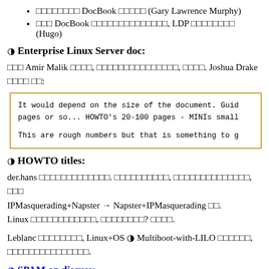░░░░░░░░ DocBook ░░░░░ (Gary Lawrence Murphy)
░░░ DocBook ░░░░░░░░░░░░░░, LDP ░░░░░░░░ (Hugo)
◑ Enterprise Linux Server doc:
░░░ Amir Malik ░░░░, ░░░░░░░░░░░░░░░, ░░░░. Joshua Drake ░░░░ ░░:
It would depend on the size of the document. Guid pages or so... HOWTO's 20-100 pages - MINIs small

This are rough numbers but that is something to g
◑ HOWTO titles:
der.hans ░░░░░░░░░░░░░. ░░░░░░░░░░, ░░░░░░░░░░░░░░, ░░░ IPMasquerading+Napster → Napster+IPMasquerading ░░. Linux ░░░░░░░░░░░░, ░░░░░░░░░? ░░░░.
Leblanc ░░░░░░░░, Linux+OS ◑ Multiboot-with-LILO ░░░░░░, ░░░░░░░░░░░░░░░.
◑ SPAM on discuss: